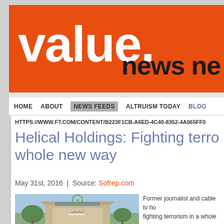value. news ne
HOME   ABOUT   NEWS FEEDS   ALTRUISM TODAY   BLOG
HTTPS://WWW.FT.COM/CONTENT/B223F1CB-A6ED-4C40-8352-4A065FF0
Helical Holdings: Fighting terro whole new way
May 31st, 2016  |  Source: Sofrep.com
[Figure (photo): Photo of Helical Outposts building with logo sign]
Former journalist and cable tv ho fighting terrorism in a whole new decade in journalism, he said tha him to meet and interview people